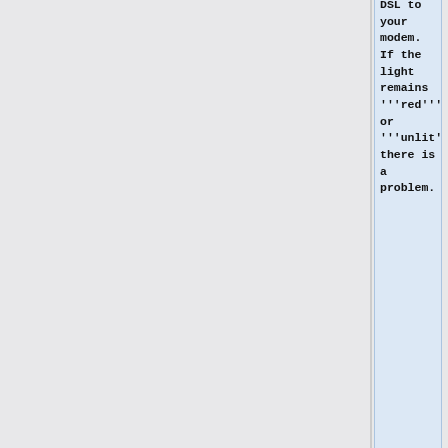DSL to your modem. If the light remains '''red''' or '''unlit''', there is a problem.
+
If your unit was able to log in earlier and you have not made any changes, a red light likely